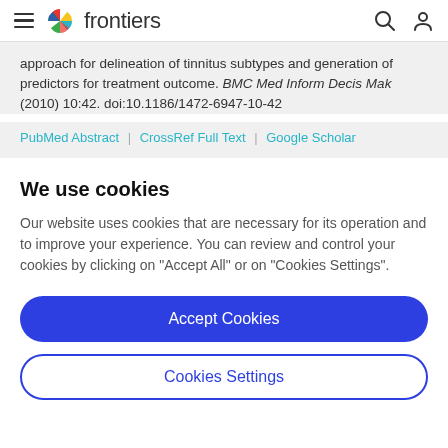frontiers
approach for delineation of tinnitus subtypes and generation of predictors for treatment outcome. BMC Med Inform Decis Mak (2010) 10:42. doi:10.1186/1472-6947-10-42
PubMed Abstract | CrossRef Full Text | Google Scholar
We use cookies
Our website uses cookies that are necessary for its operation and to improve your experience. You can review and control your cookies by clicking on "Accept All" or on "Cookies Settings".
Accept Cookies
Cookies Settings